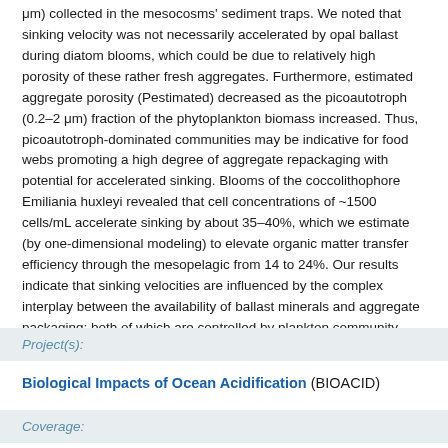μm) collected in the mesocosms' sediment traps. We noted that sinking velocity was not necessarily accelerated by opal ballast during diatom blooms, which could be due to relatively high porosity of these rather fresh aggregates. Furthermore, estimated aggregate porosity (Pestimated) decreased as the picoautotroph (0.2–2 μm) fraction of the phytoplankton biomass increased. Thus, picoautotroph-dominated communities may be indicative for food webs promoting a high degree of aggregate repackaging with potential for accelerated sinking. Blooms of the coccolithophore Emiliania huxleyi revealed that cell concentrations of ~1500 cells/mL accelerate sinking by about 35–40%, which we estimate (by one-dimensional modeling) to elevate organic matter transfer efficiency through the mesopelagic from 14 to 24%. Our results indicate that sinking velocities are influenced by the complex interplay between the availability of ballast minerals and aggregate packaging; both of which are controlled by plankton community structure.
Project(s):
Biological Impacts of Ocean Acidification (BIOACID)
Coverage: